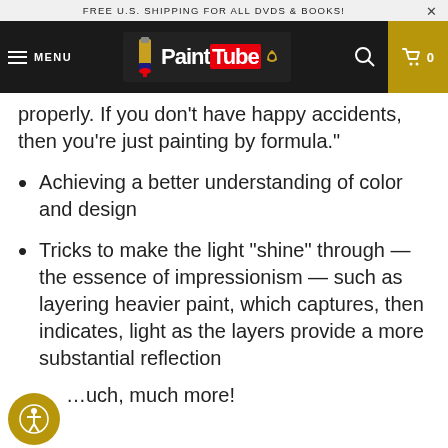FREE U.S. SHIPPING FOR ALL DVDS & BOOKS!
[Figure (logo): PaintTube.tv logo on dark navigation bar with hamburger menu, search icon, and cart showing 0]
properly. If you don't have happy accidents, then you're just painting by formula."
Achieving a better understanding of color and design
Tricks to make the light "shine" through — the essence of impressionism — such as layering heavier paint, which captures, then indicates, light as the layers provide a more substantial reflection
…uch, much more!